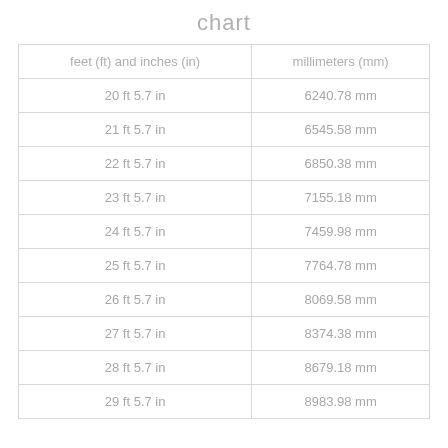chart
| feet (ft) and inches (in) | millimeters (mm) |
| --- | --- |
| 20 ft 5.7 in | 6240.78 mm |
| 21 ft 5.7 in | 6545.58 mm |
| 22 ft 5.7 in | 6850.38 mm |
| 23 ft 5.7 in | 7155.18 mm |
| 24 ft 5.7 in | 7459.98 mm |
| 25 ft 5.7 in | 7764.78 mm |
| 26 ft 5.7 in | 8069.58 mm |
| 27 ft 5.7 in | 8374.38 mm |
| 28 ft 5.7 in | 8679.18 mm |
| 29 ft 5.7 in | 8983.98 mm |